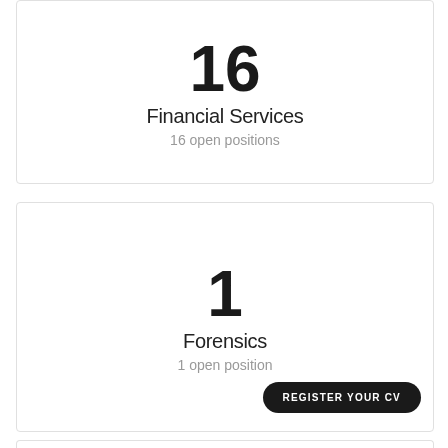16
Financial Services
16 open positions
1
Forensics
1 open position
REGISTER YOUR CV